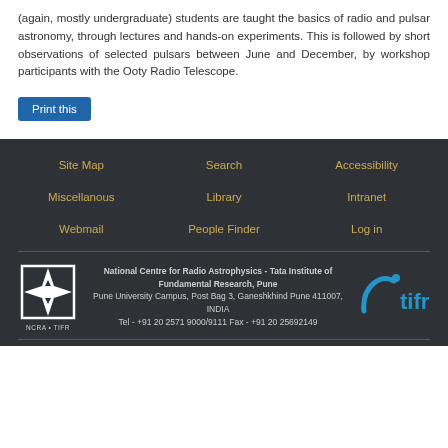(again, mostly undergraduate) students are taught the basics of radio and pulsar astronomy, through lectures and hands-on experiments. This is followed by short observations of selected pulsars between June and December, by workshop participants with the Ooty Radio Telescope.
Print this
Site Map | Search | Accessibility | Miscellanous | Library | Intranet | Webmail | People Finder | Log in
National Centre for Radio Astrophysics - Tata Institute of Fundamental Research, Pune
Pune University Campus, Post Bag 3, Ganeshkhind Pune 411007, INDIA
Tel - +91 20 2571 9000/9111 Fax - +91 20 25692149